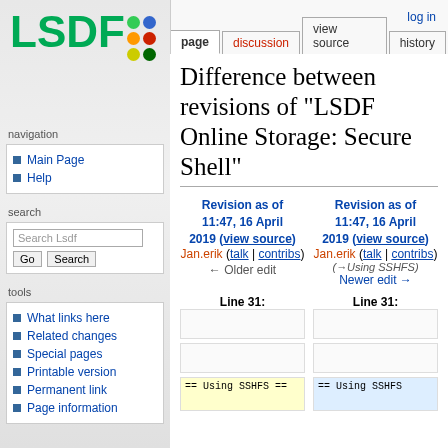log in
page | discussion | view source | history
Difference between revisions of "LSDF Online Storage: Secure Shell"
Revision as of 11:47, 16 April 2019 (view source)
Jan.erik (talk | contribs)
← Older edit
Revision as of 11:47, 16 April 2019 (view source)
Jan.erik (talk | contribs)
(→Using SSHFS)
Newer edit →
Line 31:
Line 31:
== Using SSHFS ==
== Using SSHFS
Main Page
Help
What links here
Related changes
Special pages
Printable version
Permanent link
Page information